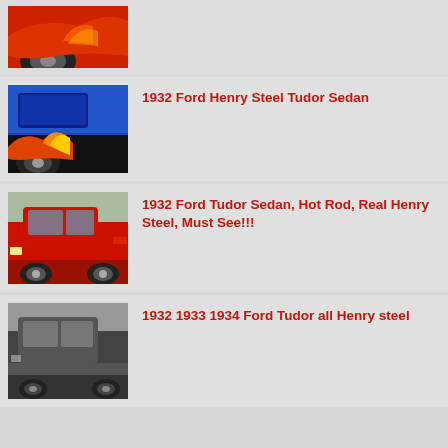[Figure (photo): Partial view of a red hot rod car, showing front wheel and orange/red paint]
[Figure (photo): Blue 1932 Ford Henry Steel Tudor Sedan with flame graphics on the lower body]
1932 Ford Henry Steel Tudor Sedan
[Figure (photo): Red 1932 Ford Tudor Sedan hot rod parked outdoors]
1932 Ford Tudor Sedan, Hot Rod, Real Henry Steel, Must See!!!
[Figure (photo): Black and white photo of a 1932-1934 Ford Tudor with all Henry steel body]
1932 1933 1934 Ford Tudor all Henry steel